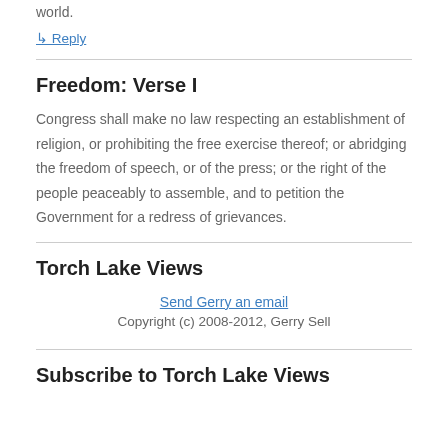world.
↳ Reply
Freedom: Verse I
Congress shall make no law respecting an establishment of religion, or prohibiting the free exercise thereof; or abridging the freedom of speech, or of the press; or the right of the people peaceably to assemble, and to petition the Government for a redress of grievances.
Torch Lake Views
Send Gerry an email
Copyright (c) 2008-2012, Gerry Sell
Subscribe to Torch Lake Views